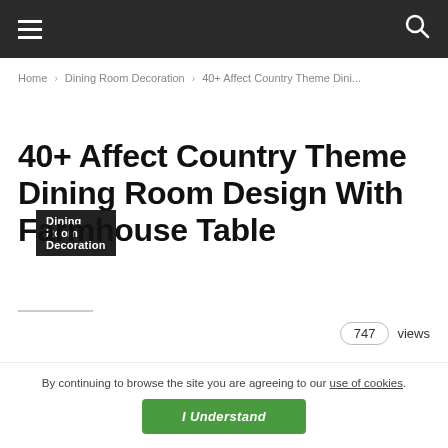Navigation bar with menu and search icons
Home › Dining Room Decoration › 40+ Affect Country Theme Dini...
Dining Room Decoration
40+ Affect Country Theme Dining Room Design With Farmhouse Table
747 views
By continuing to browse the site you are agreeing to our use of cookies. I Understand